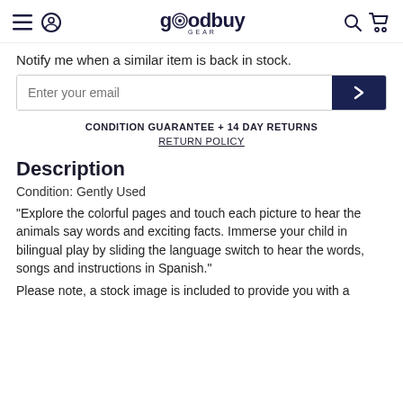goodbuy GEAR
Notify me when a similar item is back in stock.
CONDITION GUARANTEE + 14 DAY RETURNS
RETURN POLICY
Description
Condition: Gently Used
"Explore the colorful pages and touch each picture to hear the animals say words and exciting facts. Immerse your child in bilingual play by sliding the language switch to hear the words, songs and instructions in Spanish."
Please note, a stock image is included to provide you with a